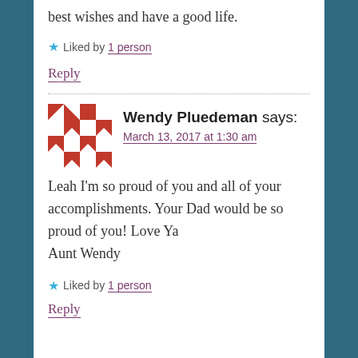best wishes and have a good life.
Liked by 1 person
Reply
Wendy Pluedeman says:
March 13, 2017 at 1:30 am
Leah I'm so proud of you and all of your accomplishments. Your Dad would be so proud of you! Love Ya
Aunt Wendy
Liked by 1 person
Reply